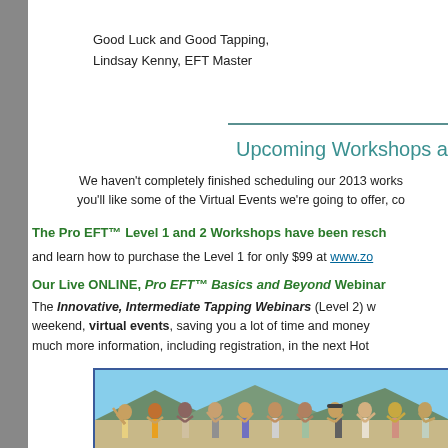Good Luck and Good Tapping,
Lindsay Kenny, EFT Master
Upcoming Workshops a
We haven't completely finished scheduling our 2013 works you'll like some of the Virtual Events we're going to offer, co
The Pro EFT™ Level 1 and 2 Workshops have been resch and learn how to purchase the Level 1 for only $99 at www.zo
Our Live ONLINE, Pro EFT™ Basics and Beyond Webinar The Innovative, Intermediate Tapping Webinars (Level 2) w weekend, virtual events, saving you a lot of time and money much more information, including registration, in the next Hot
[Figure (photo): Group photo of approximately 10-11 people standing outdoors with mountains and blue sky in the background, waving and smiling]